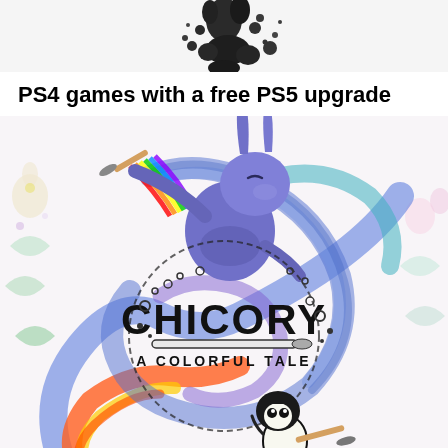[Figure (photo): Top portion of a dark ink splatter / creature image on white background, partially cropped]
PS4 games with a free PS5 upgrade
[Figure (illustration): Chicory: A Colorful Tale game cover art featuring a blue rabbit character holding a paintbrush with rainbow paint, creating a swirl of color, and a small black and white character at the bottom. Colorful flower and leaf decorations in background.]